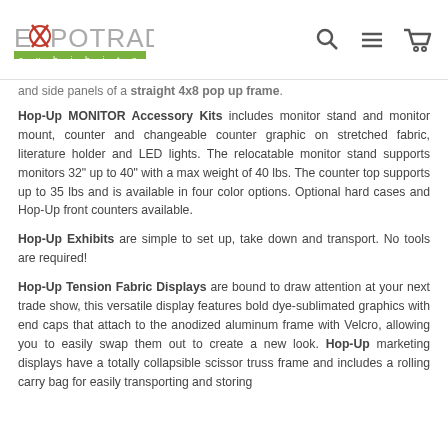EXPOTRADE exhibits [logo with navigation icons]
and side panels of a straight 4x8 pop up frame.
Hop-Up MONITOR Accessory Kits includes monitor stand and monitor mount, counter and changeable counter graphic on stretched fabric, literature holder and LED lights. The relocatable monitor stand supports monitors 32" up to 40" with a max weight of 40 lbs. The counter top supports up to 35 lbs and is available in four color options. Optional hard cases and Hop-Up front counters available.
Hop-Up Exhibits are simple to set up, take down and transport. No tools are required!
Hop-Up Tension Fabric Displays are bound to draw attention at your next trade show, this versatile display features bold dye-sublimated graphics with end caps that attach to the anodized aluminum frame with Velcro, allowing you to easily swap them out to create a new look. Hop-Up marketing displays have a totally collapsible scissor truss frame and includes a rolling carry bag for easily transporting and storing